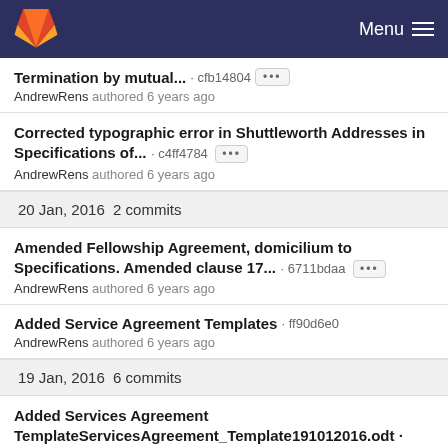GitLab — Menu
Termination by mutual... · cfb14804 [...]
AndrewRens authored 6 years ago
Corrected typographic error in Shuttleworth Addresses in Specifications of... · c4ff4784 [...]
AndrewRens authored 6 years ago
20 Jan, 2016  2 commits
Amended Fellowship Agreement, domicilium to Specifications. Amended clause 17... · 6711bdaa [...]
AndrewRens authored 6 years ago
Added Service Agreement Templates · ff90d6e0
AndrewRens authored 6 years ago
19 Jan, 2016  6 commits
Added Services Agreement TemplateServicesAgreement_Template191012016.odt ·